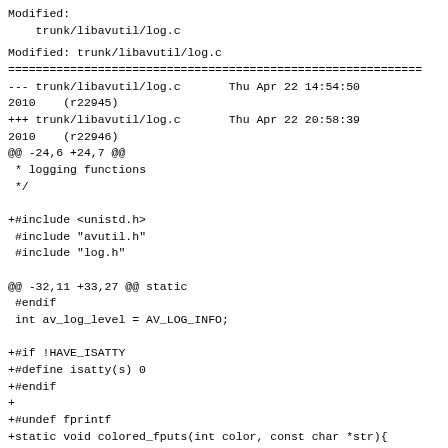Modified:
    trunk/libavutil/log.c
Modified: trunk/libavutil/log.c
============================================================
--- trunk/libavutil/log.c       Thu Apr 22 14:54:50 2010    (r22945)
+++ trunk/libavutil/log.c       Thu Apr 22 20:58:39 2010    (r22946)
@@ -24,6 +24,7 @@
 * logging functions
 */

+#include <unistd.h>
 #include "avutil.h"
 #include "log.h"

@@ -32,11 +33,27 @@ static
 #endif
 int av_log_level = AV_LOG_INFO;

+#if !HAVE_ISATTY
+#define isatty(s) 0
+#endif
+
+#undef fprintf
+static void colored_fputs(int color, const char *str){
+    if(isatty(2)){
+        fprintf(stderr, "\033[%dm\033[3%dm", color>>4, color&15);
+ }